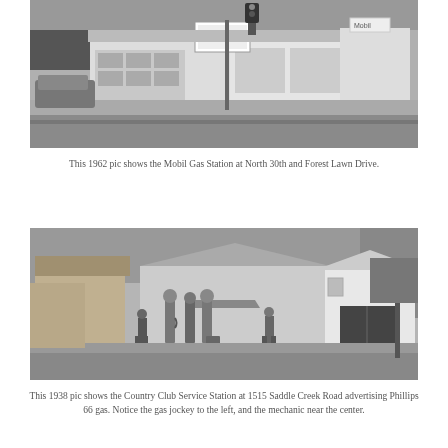[Figure (photo): Black and white 1962 photograph of the Mobil Gas Station at North 30th and Forest Lawn Drive. Shows a corner service station with garage bays and a storefront, cars visible, trees in background.]
This 1962 pic shows the Mobil Gas Station at North 30th and Forest Lawn Drive.
[Figure (photo): Black and white 1938 photograph of the Country Club Service Station at 1515 Saddle Creek Road advertising Phillips 66 gas. Shows old-style gas pumps, a gas jockey to the left, a mechanic near the center, and a small white garage building to the right.]
This 1938 pic shows the Country Club Service Station at 1515 Saddle Creek Road advertising Phillips 66 gas. Notice the gas jockey to the left, and the mechanic near the center.